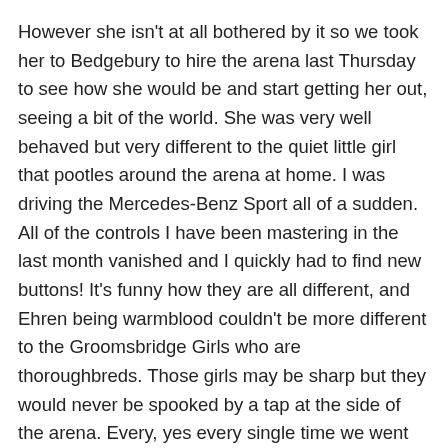However she isn't at all bothered by it so we took her to Bedgebury to hire the arena last Thursday to see how she would be and start getting her out, seeing a bit of the world. She was very well behaved but very different to the quiet little girl that pootles around the arena at home. I was driving the Mercedes-Benz Sport all of a sudden. All of the controls I have been mastering in the last month vanished and I quickly had to find new buttons! It's funny how they are all different, and Ehren being warmblood couldn't be more different to the Groomsbridge Girls who are thoroughbreds. Those girls may be sharp but they would never be spooked by a tap at the side of the arena. Every, yes every single time we went past it I think it must have hissed at her in German. Oh…purlease….get over it!